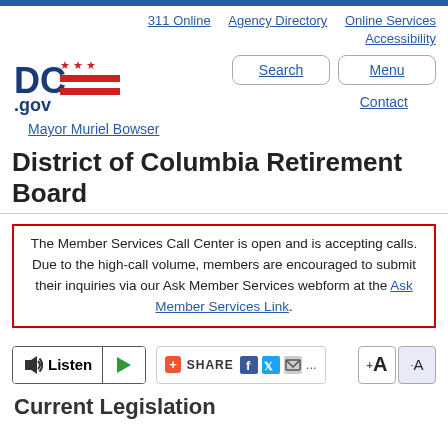311 Online   Agency Directory   Online Services   Accessibility
[Figure (logo): DC.gov logo with red stars and red striped flag icon]
Mayor Muriel Bowser
District of Columbia Retirement Board
The Member Services Call Center is open and is accepting calls. Due to the high-call volume, members are encouraged to submit their inquiries via our Ask Member Services webform at the Ask Member Services Link.
[Figure (screenshot): Listen / play toolbar with Share, Facebook, Twitter, email icons and font size buttons]
Current Legislation